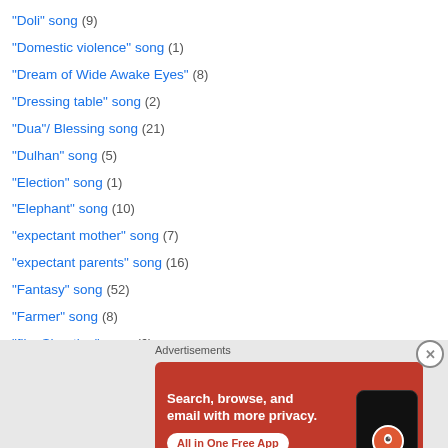"Doli" song (9)
"Domestic violence" song (1)
"Dream of Wide Awake Eyes" (8)
"Dressing table" song (2)
"Dua"/ Blessing song (21)
"Dulhan" song (5)
"Election" song (1)
"Elephant" song (10)
"expectant mother" song (7)
"expectant parents" song (16)
"Fantasy" song (52)
"Farmer" song (8)
"film Shooting" song (6)
"Fisherman" song (3)
[Figure (infographic): DuckDuckGo advertisement banner on orange-red background: 'Search, browse, and email with more privacy. All in One Free App' with phone graphic and DuckDuckGo logo]